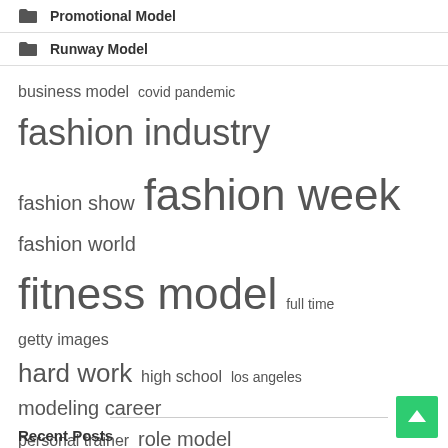Promotional Model
Runway Model
[Figure (infographic): Tag cloud with words of varying sizes: business model, covid pandemic, fashion industry (large), fashion show, fashion week (very large), fashion world, fitness model (very large), full time (small), getty images, hard work, high school, los angeles, modeling career, personal trainer, role model, social media (very large), united states (very large), york city, york fashion]
Recent Posts